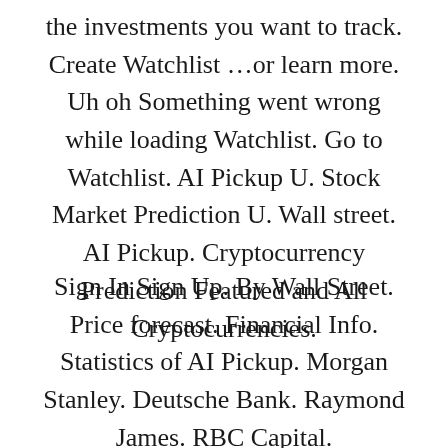the investments you want to track. Create Watchlist …or learn more. Uh oh Something went wrong while loading Watchlist. Go to Watchlist. AI Pickup U. Stock Market Prediction U. Wall street. AI Pickup. Cryptocurrency Prediction Featured and All Cryptocurrencies.
Sign In Sign Up. By Wall Street. Price forecast. Financial Info. Statistics of AI Pickup. Morgan Stanley. Deutsche Bank. Raymond James. RBC Capital.